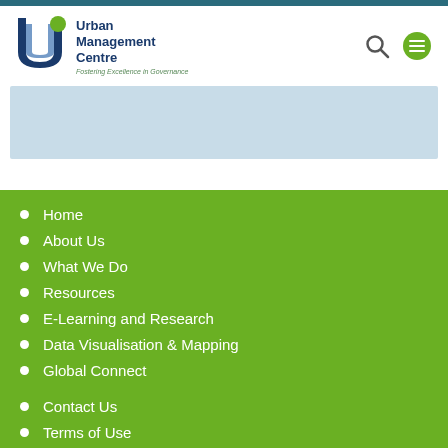Urban Management Centre — Fostering Excellence in Governance
[Figure (logo): Urban Management Centre logo with blue arc/U shape icon and green circle element, with text 'Urban Management Centre' and tagline 'Fostering Excellence in Governance']
Home
About Us
What We Do
Resources
E-Learning and Research
Data Visualisation & Mapping
Global Connect
Contact Us
Terms of Use